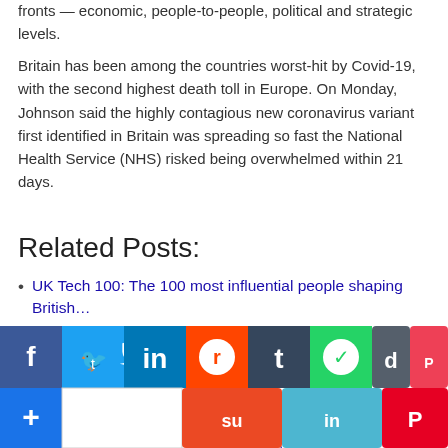fronts — economic, people-to-people, political and strategic levels.
Britain has been among the countries worst-hit by Covid-19, with the second highest death toll in Europe. On Monday, Johnson said the highly contagious new coronavirus variant first identified in Britain was spreading so fast the National Health Service (NHS) risked being overwhelmed within 21 days.
Related Posts:
UK Tech 100: The 100 most influential people shaping British…
Meet the 26 healthcare startups that top VCs say are poised…
29 tech startup founders and CEOs share their fears and…
These are the 15 European health startups investors think…
[Figure (infographic): Social media sharing buttons bar: Facebook, Twitter, LinkedIn, Reddit, Tumblr, WhatsApp, Digg, Pocket, Copy, Email icons in first row; Plus, blank, StumbleUpon, LinkedIn, Pinterest in second row]